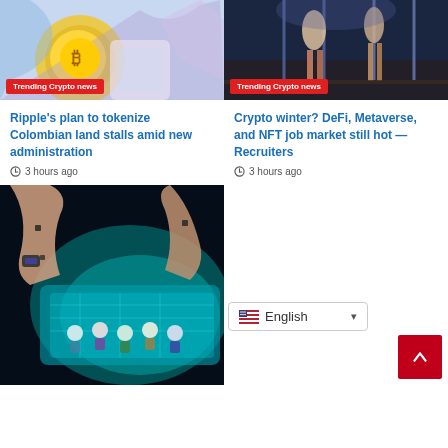[Figure (illustration): Crypto illustration with coin and hand graphic, labeled Trending Crypto news]
[Figure (illustration): Anime-style crypto bar scene illustration labeled Trending Crypto news]
Ripple's plan to tokenize Colombian land stalls amid new administration
3 hours ago
Crypto winter? DeFi, Metaverse, and NFT job market still hot — Recruiters
3 hours ago
[Figure (illustration): Illustration of hacker and small characters working at computers]
English